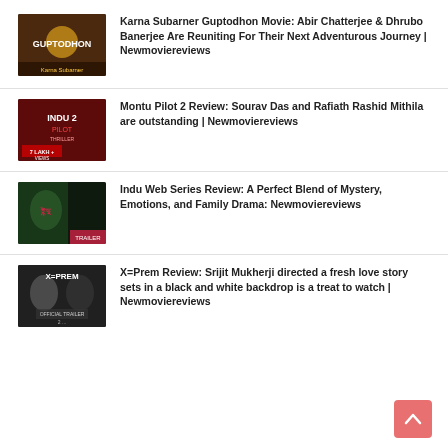Karna Subarner Guptodhon Movie: Abir Chatterjee & Dhrubo Banerjee Are Reuniting For Their Next Adventurous Journey | Newmoviereviews
Montu Pilot 2 Review: Sourav Das and Rafiath Rashid Mithila are outstanding | Newmoviereviews
Indu Web Series Review: A Perfect Blend of Mystery, Emotions, and Family Drama: Newmoviereviews
X=Prem Review: Srijit Mukherji directed a fresh love story sets in a black and white backdrop is a treat to watch | Newmoviereviews